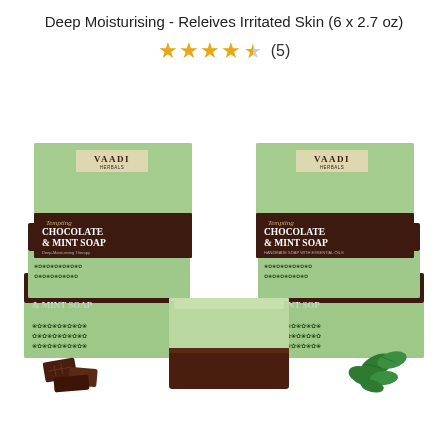Deep Moisturising - Releives Irritated Skin (6 x 2.7 oz)
[Figure (other): Star rating showing 4.5 out of 5 stars with 5 reviews indicated by '(5)' text next to gold stars]
[Figure (photo): Product photo showing multiple boxes of Vaadi Herbals Tempting Chocolate & Mint Soap stacked in two groups, with an unwrapped bar of the soap (green top, chocolate brown bottom) in the center foreground, pieces of chocolate on the left, and fresh mint leaves on the right.]